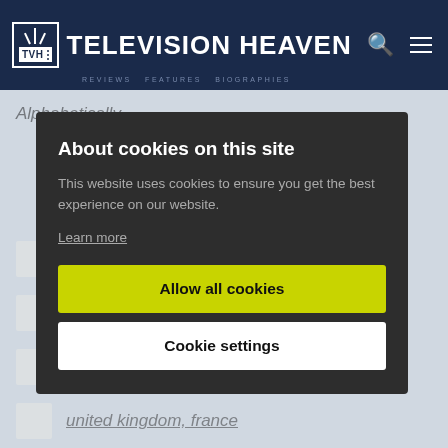Television Heaven
Alphabetically
About cookies on this site
This website uses cookies to ensure you get the best experience on our website.
Learn more
Allow all cookies
Cookie settings
West Germany
USA & Italy
USA
United Kingdom, France